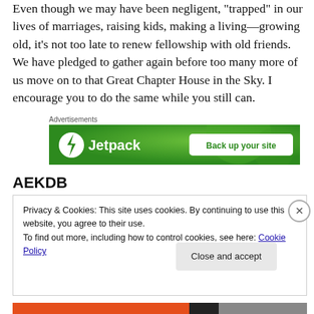Even though we may have been negligent, "trapped" in our lives of marriages, raising kids, making a living—growing old, it's not too late to renew fellowship with old friends. We have pledged to gather again before too many more of us move on to that Great Chapter House in the Sky. I encourage you to do the same while you still can.
[Figure (other): Jetpack advertisement banner with green background showing Jetpack logo and 'Back up your site' button]
AEKDB
Privacy & Cookies: This site uses cookies. By continuing to use this website, you agree to their use.
To find out more, including how to control cookies, see here: Cookie Policy
Close and accept